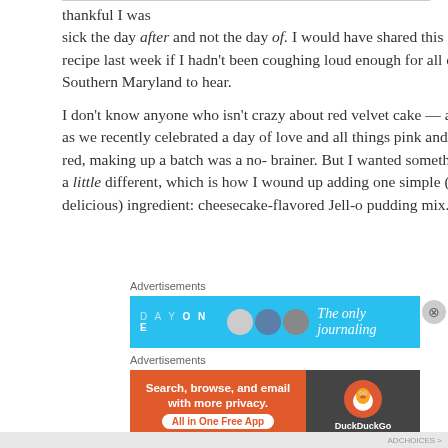thankful I was sick the day after and not the day of. I would have shared this recipe last week if I hadn't been coughing loud enough for all of Southern Maryland to hear.
I don't know anyone who isn't crazy about red velvet cake — and as we recently celebrated a day of love and all things pink and red, making up a batch was a no-brainer. But I wanted something a little different, which is how I wound up adding one simple (but delicious) ingredient: cheesecake-flavored Jell-o pudding mix.
Advertisements
[Figure (other): DayOne journaling app advertisement banner with light blue background showing avatar icons and text 'The only journaling']
Advertisements
[Figure (other): DuckDuckGo advertisement banner with orange left side reading 'Search, browse, and email with more privacy. All in One Free App' and dark right side with DuckDuckGo duck logo]
ADCHOICES >